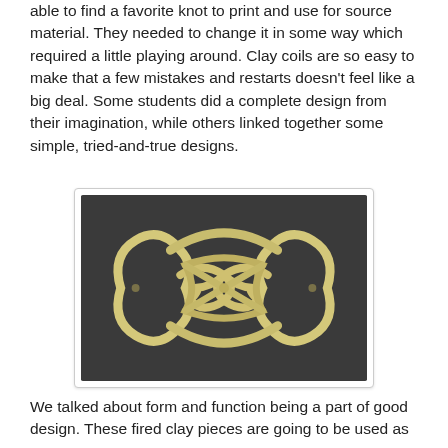able to find a favorite knot to print and use for source material. They needed to change it in some way which required a little playing around. Clay coils are so easy to make that a few mistakes and restarts doesn't feel like a big deal. Some students did a complete design from their imagination, while others linked together some simple, tried-and-true designs.
[Figure (photo): A clay coil sculpture in the shape of an interlocking Celtic knot, cream/yellow colored clay coils woven together in a complex knotwork pattern, photographed on a dark gray background.]
We talked about form and function being a part of good design. These fired clay pieces are going to be used as